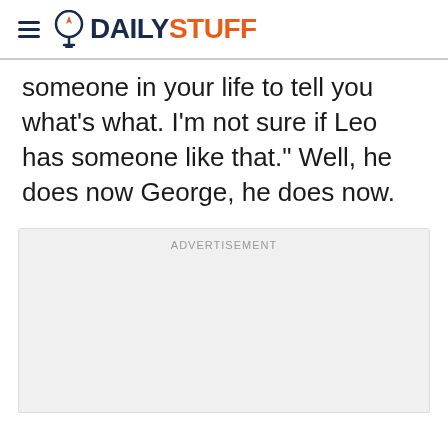DAILYSTUFF
someone in your life to tell you what’s what. I’m not sure if Leo has someone like that.” Well, he does now George, he does now.
[Figure (other): Advertisement placeholder box with ADVERTISEMENT label]